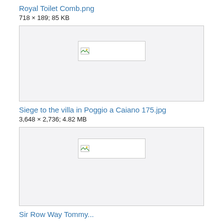Royal Toilet Comb.png
718 × 189; 85 KB
[Figure (photo): Broken image placeholder for Royal Toilet Comb.png]
Siege to the villa in Poggio a Caiano 175.jpg
3,648 × 2,736; 4.82 MB
[Figure (photo): Broken image placeholder for Siege to the villa in Poggio a Caiano 175.jpg]
Sir Row Way Tommy...